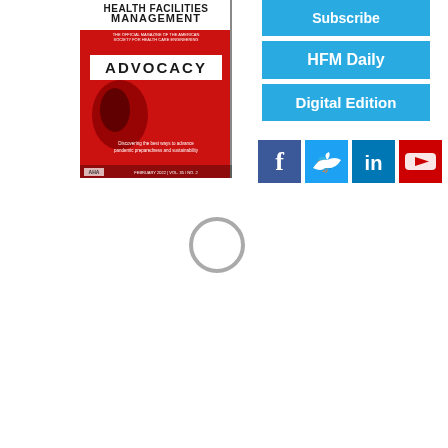[Figure (illustration): Health Facilities Management magazine cover with red background, 'ADVOCACY' text in white/black, subtitle text about enhancing pandemic preparedness and sustainability, AHA logo]
[Figure (other): Three cyan/blue buttons: Subscribe, HFM Daily, Digital Edition]
[Figure (other): Four social media icons: Facebook (blue), Twitter (cyan), LinkedIn (blue), YouTube (red)]
[Figure (other): Loading spinner circle (gray outline circle) in center-lower area of page]